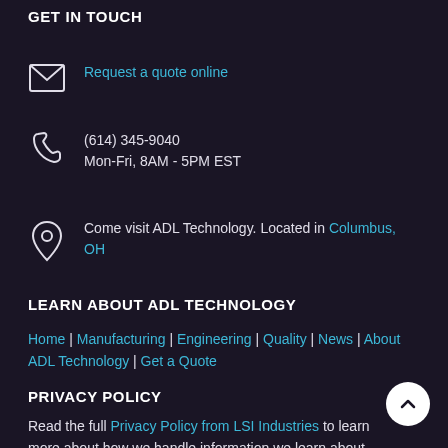GET IN TOUCH
Request a quote online
(614) 345-9040
Mon-Fri, 8AM - 5PM EST
Come visit ADL Technology. Located in Columbus, OH
LEARN ABOUT ADL TECHNOLOGY
Home | Manufacturing | Engineering | Quality | News | About ADL Technology | Get a Quote
PRIVACY POLICY
Read the full Privacy Policy from LSI Industries to learn more about how we handle information we learn about you from our web